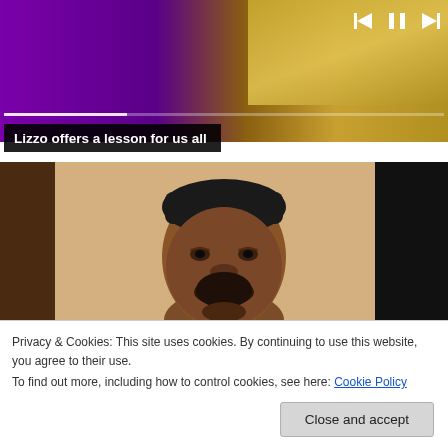[Figure (screenshot): Video player showing two performers on stage; a progress bar and media controls (skip back, pause, skip forward) visible. Caption bar reads 'Lizzo offers a lesson for us all']
Lizzo offers a lesson for us all
[Figure (photo): Close-up photo of a bearded Black man looking at the camera, against a tan/beige and dark background]
Privacy & Cookies: This site uses cookies. By continuing to use this website, you agree to their use.
To find out more, including how to control cookies, see here: Cookie Policy
Close and accept
Marlon Wayans' 'Book of Marlon' series moves